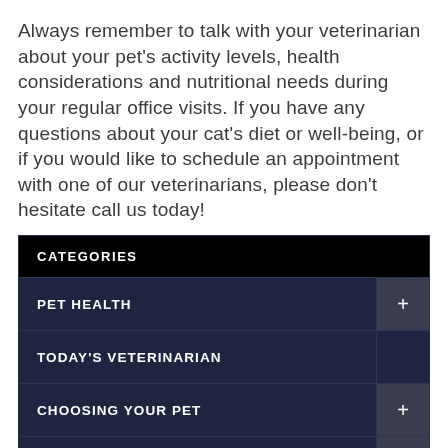Always remember to talk with your veterinarian about your pet's activity levels, health considerations and nutritional needs during your regular office visits. If you have any questions about your cat's diet or well-being, or if you would like to schedule an appointment with one of our veterinarians, please don't hesitate call us today!
| CATEGORIES |  |
| --- | --- |
| PET HEALTH | + |
| TODAY'S VETERINARIAN |  |
| CHOOSING YOUR PET | + |
| LIVING WITH YOUR PET | + |
| NEWSLETTER LIBRARY | + |
| VIDEO NEWSROOM | + |